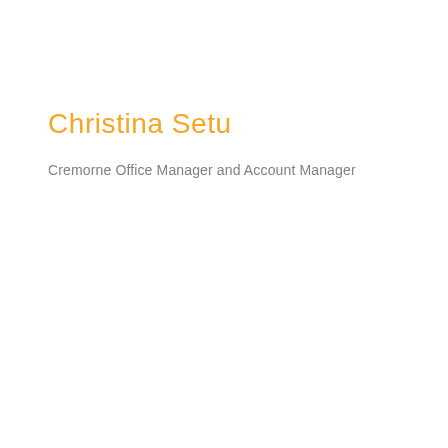Christina Setu
Cremorne Office Manager and Account Manager